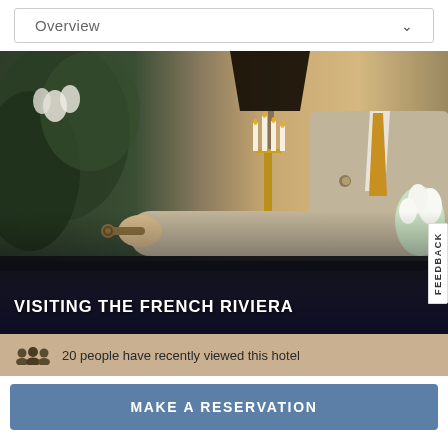Overview
[Figure (photo): Hotel concierge or staff member in a beige/tan suit with a gold tie, standing behind a dark reception desk. In the background there are candelabras, white flowers, and lush green floral arrangements. The staff member is extending their hand, possibly handing over a key.]
VISITING THE FRENCH RIVIERA
FEEDBACK
20 people have recently viewed this hotel
MAKE A RESERVATION